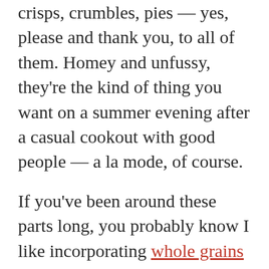crisps, crumbles, pies — yes, please and thank you, to all of them. Homey and unfussy, they're the kind of thing you want on a summer evening after a casual cookout with good people — a la mode, of course.
If you've been around these parts long, you probably know I like incorporating whole grains into baked goods when I can — not just for added health benefits but also for flavor! The nutty, toasty tones of whole grains pair especially well with fruit and give simple crumbles such as this one extra depth. In this plum berry crumble I've used buckwheat and oats; but you could easily substitute spelt, kamut, rye, or whole wheat if that's what you have on hand. If whole